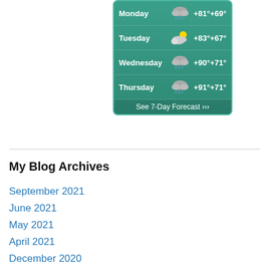[Figure (other): Weather widget showing forecast for Monday through Thursday with temperatures and weather icons, plus a 'See 7-Day Forecast' link. Monday: rain +81°+69°, Tuesday: partly cloudy +83°+67°, Wednesday: rain +90°+71°, Thursday: rain +91°+71°]
My Blog Archives
September 2021
June 2021
May 2021
April 2021
December 2020
October 2020
September 2020
August 2020
June 2020
May 2020
April 2020